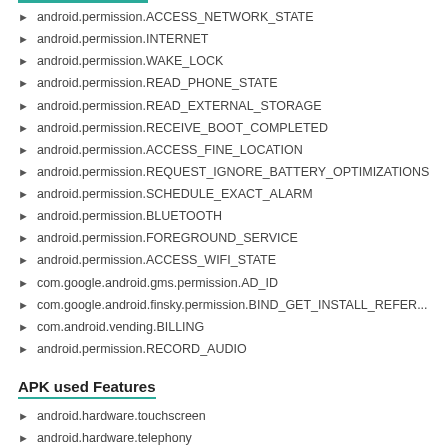android.permission.ACCESS_NETWORK_STATE
android.permission.INTERNET
android.permission.WAKE_LOCK
android.permission.READ_PHONE_STATE
android.permission.READ_EXTERNAL_STORAGE
android.permission.RECEIVE_BOOT_COMPLETED
android.permission.ACCESS_FINE_LOCATION
android.permission.REQUEST_IGNORE_BATTERY_OPTIMIZATIONS
android.permission.SCHEDULE_EXACT_ALARM
android.permission.BLUETOOTH
android.permission.FOREGROUND_SERVICE
android.permission.ACCESS_WIFI_STATE
com.google.android.gms.permission.AD_ID
com.google.android.finsky.permission.BIND_GET_INSTALL_REFER...
com.android.vending.BILLING
android.permission.RECORD_AUDIO
APK used Features
android.hardware.touchscreen
android.hardware.telephony
android.hardware.camera
android.hardware.camera.front